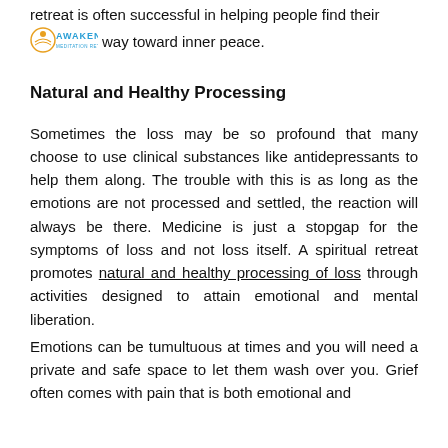retreat is often successful in helping people find their way toward inner peace.
[Figure (logo): Awaken Meditation Retreats logo — circular orange/gold emblem with blue text 'AWAKEN' and smaller text 'MEDITATION RETREATS']
Natural and Healthy Processing
Sometimes the loss may be so profound that many choose to use clinical substances like antidepressants to help them along. The trouble with this is as long as the emotions are not processed and settled, the reaction will always be there. Medicine is just a stopgap for the symptoms of loss and not loss itself. A spiritual retreat promotes natural and healthy processing of loss through activities designed to attain emotional and mental liberation.
Emotions can be tumultuous at times and you will need a private and safe space to let them wash over you. Grief often comes with pain that is both emotional and